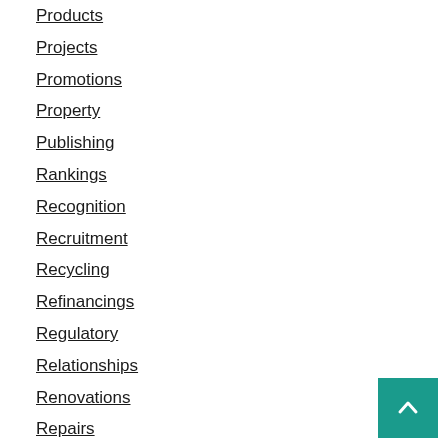Products
Projects
Promotions
Property
Publishing
Rankings
Recognition
Recruitment
Recycling
Refinancings
Regulatory
Relationships
Renovations
Repairs
Reports
Research
Restrictions